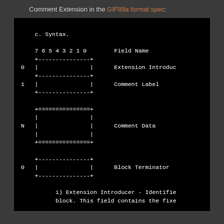Comment Extension in the GIF89a format spec:
[Figure (schematic): GIF89a Comment Extension syntax diagram showing bit fields for Extension Introducer (row 0), Comment Label (row 1), Comment Data (row N), and Block Terminator (row 0), with field names on the right side.]
i) Extension Introducer - Identifies the block. This field contains the fixe
ii) Comment Label - Identifies the This field contains the fixed value
iii) Comment Data - Sequence of sub-blocks, each sub-block has at most 255 bytes and at least 1 byte, with the data. The end of the sequence